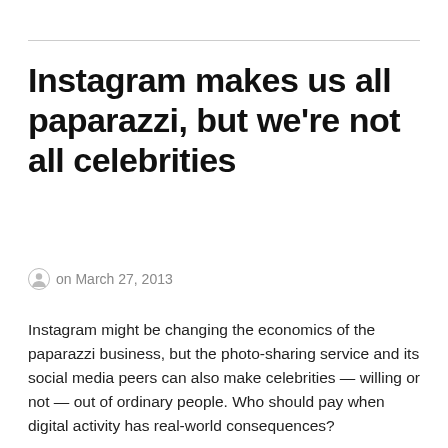Instagram makes us all paparazzi, but we're not all celebrities
on March 27, 2013
Instagram might be changing the economics of the paparazzi business, but the photo-sharing service and its social media peers can also make celebrities — willing or not — out of ordinary people. Who should pay when digital activity has real-world consequences?